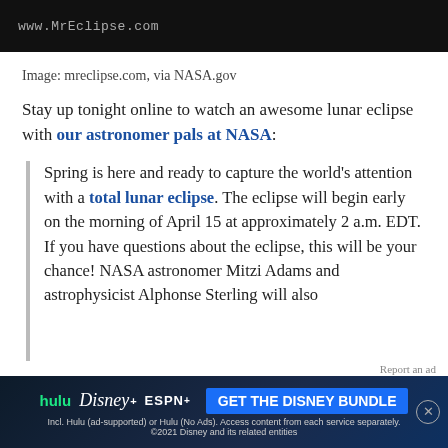www.MrEclipse.com
Image: mreclipse.com, via NASA.gov
Stay up tonight online to watch an awesome lunar eclipse with our astronomer pals at NASA:
Spring is here and ready to capture the world's attention with a total lunar eclipse. The eclipse will begin early on the morning of April 15 at approximately 2 a.m. EDT. If you have questions about the eclipse, this will be your chance! NASA astronomer Mitzi Adams and astrophysicist Alphonse Sterling will also
[Figure (screenshot): Disney Bundle advertisement banner with Hulu, Disney+, ESPN+ logos and GET THE DISNEY BUNDLE call to action button]